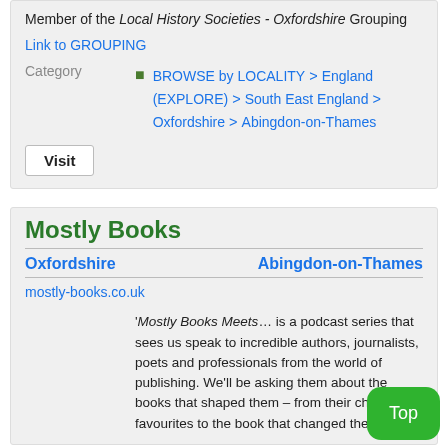Member of the Local History Societies - Oxfordshire Grouping
Link to GROUPING
Category
BROWSE by LOCALITY > England (EXPLORE) > South East England > Oxfordshire > Abingdon-on-Thames
Visit
Mostly Books
Oxfordshire
Abingdon-on-Thames
mostly-books.co.uk
'Mostly Books Meets… is a podcast series that sees us speak to incredible authors, journalists, poets and professionals from the world of publishing. We'll be asking them about the books that shaped them – from their childhood favourites to the book that changed their life.'